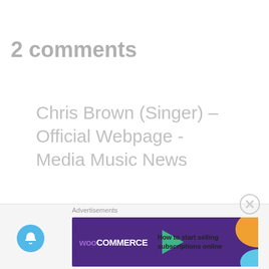2 comments
Chris Brown (Singer) – Official Webpage - Media Music News
MAY 5, 2022 AT  10:28 AM
[...] In January 2019, Brown released
[Figure (screenshot): Advertisement banner for WooCommerce: 'How to start selling subscriptions online']
[Figure (other): Notification bell button (blue circle)]
[Figure (other): Close/dismiss button (circled X)]